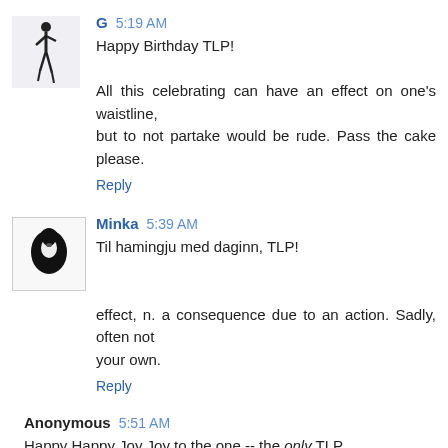[Figure (illustration): Avatar icon showing a silhouette of a person (fashion figure) on light background]
G 5:19 AM
Happy Birthday TLP!

All this celebrating can have an effect on one's waistline, but to not partake would be rude. Pass the cake please.
Reply
[Figure (illustration): Avatar icon showing a black bird/penguin silhouette on white background with border]
Minka 5:39 AM
Til hamingju med daginn, TLP!

effect, n. a consequence due to an action. Sadly, often not your own.
Reply
Anonymous 5:51 AM
Happy Happy Joy Joy to the one -- the only TLP.